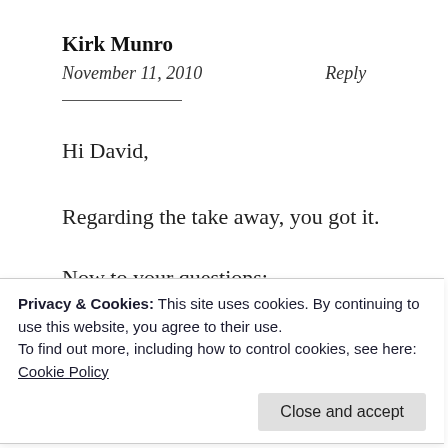Kirk Munro
November 11, 2010    Reply
Hi David,
Regarding the take away, you got it.
Now to your questions:
2b. $null is interpreted as an empty string
when passed to Out-String.
Privacy & Cookies: This site uses cookies. By continuing to use this website, you agree to their use.
To find out more, including how to control cookies, see here:
Cookie Policy
Close and accept
the last column is null, there will be spaces